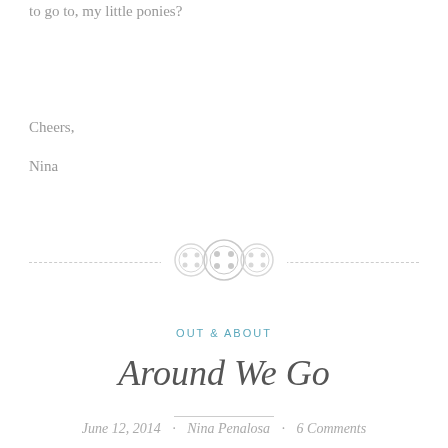to go to, my little ponies?
Cheers,
Nina
[Figure (illustration): Decorative divider with three button icons on a dashed horizontal line]
OUT & ABOUT
Around We Go
June 12, 2014 · Nina Penalosa · 6 Comments